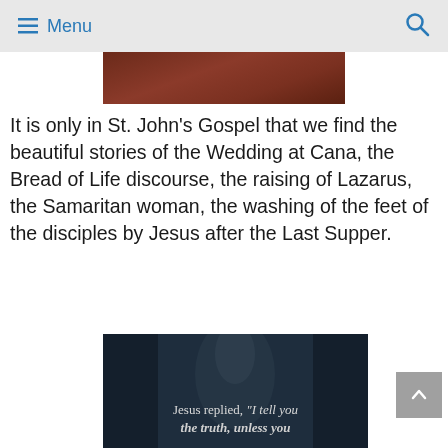Menu
[Figure (photo): Partial view of a dark reddish-brown photograph at the top of the page, cropped]
It is only in St. John’s Gospel that we find the beautiful stories of the Wedding at Cana, the Bread of Life discourse, the raising of Lazarus, the Samaritan woman, the washing of the feet of the disciples by Jesus after the Last Supper.
[Figure (photo): Dark atmospheric image of a wooded path or tunnel with text overlay reading: Jesus replied, “I tell you the truth, unless you”]
Jesus replied, “I tell you the truth, unless you